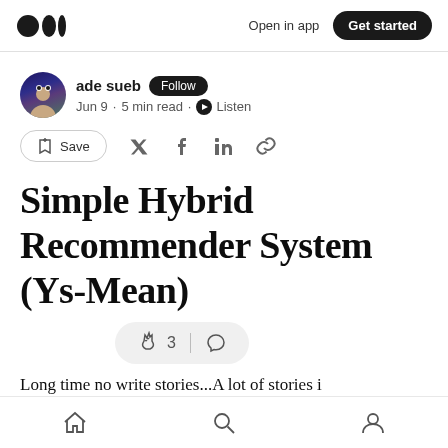Medium logo | Open in app | Get started
ade sueb · Follow · Jun 9 · 5 min read · Listen
Save
Simple Hybrid Recommender System (Ys-Mean)
3 | (comment icon)
Long time no write stories...A lot of stories i
Home | Search | Profile